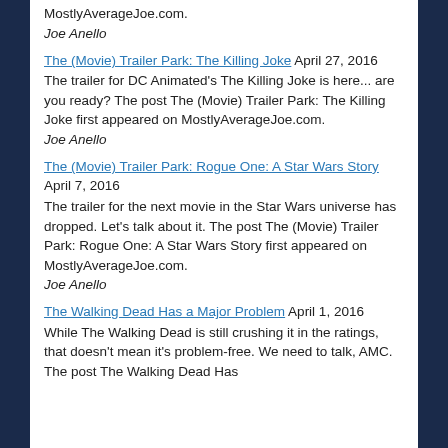MostlyAverageJoe.com.
Joe Anello
The (Movie) Trailer Park: The Killing Joke April 27, 2016
The trailer for DC Animated's The Killing Joke is here... are you ready? The post The (Movie) Trailer Park: The Killing Joke first appeared on MostlyAverageJoe.com.
Joe Anello
The (Movie) Trailer Park: Rogue One: A Star Wars Story April 7, 2016
The trailer for the next movie in the Star Wars universe has dropped. Let's talk about it. The post The (Movie) Trailer Park: Rogue One: A Star Wars Story first appeared on MostlyAverageJoe.com.
Joe Anello
The Walking Dead Has a Major Problem April 1, 2016
While The Walking Dead is still crushing it in the ratings, that doesn't mean it's problem-free. We need to talk, AMC. The post The Walking Dead Has